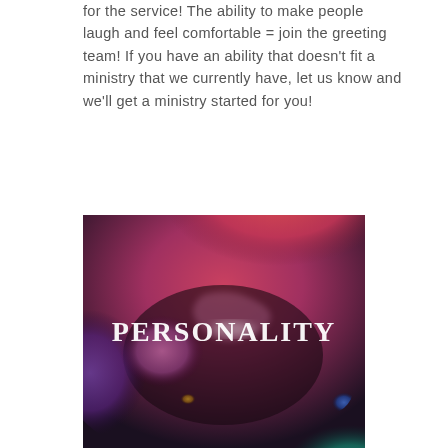for the service! The ability to make people laugh and feel comfortable = join the greeting team! If you have an ability that doesn't fit a ministry that we currently have, let us know and we'll get a ministry started for you!
[Figure (illustration): Abstract fluid art painting with swirling colors of red, pink, purple, dark brown, teal, and blue. White text in the center reads 'PERSONALITY' in bold serif capital letters.]